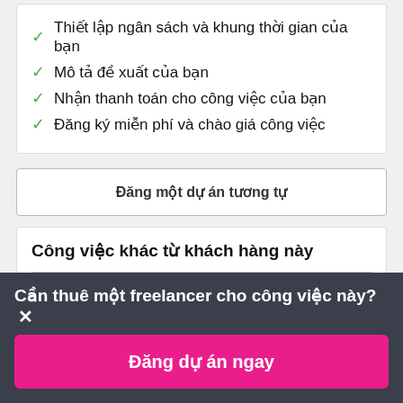Thiết lập ngân sách và khung thời gian của bạn
Mô tả đề xuất của bạn
Nhận thanh toán cho công việc của bạn
Đăng ký miễn phí và chào giá công việc
Đăng một dự án tương tự
Công việc khác từ khách hàng này
Cần thuê một freelancer cho công việc này?
Đăng dự án ngay